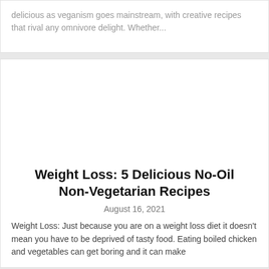delicious as veganism goes mainstream, with creative recipes that rival any omnivore delight. Whether...
Weight Loss: 5 Delicious No-Oil Non-Vegetarian Recipes
August 16, 2021
Weight Loss: Just because you are on a weight loss diet it doesn't mean you have to be deprived of tasty food. Eating boiled chicken and vegetables can get boring and it can make